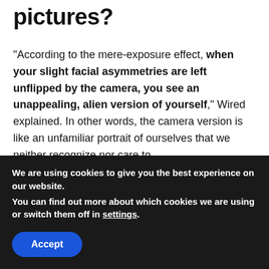pictures?
“According to the mere-exposure effect, when your slight facial asymmetries are left unflipped by the camera, you see an unappealing, alien version of yourself,” Wired explained. In other words, the camera version is like an unfamiliar portrait of ourselves that we neither recognize nor care to.
How do I enlarge the eye on my iPhone?
We are using cookies to give you the best experience on our website.
You can find out more about which cookies we are using or switch them off in settings.
Accept